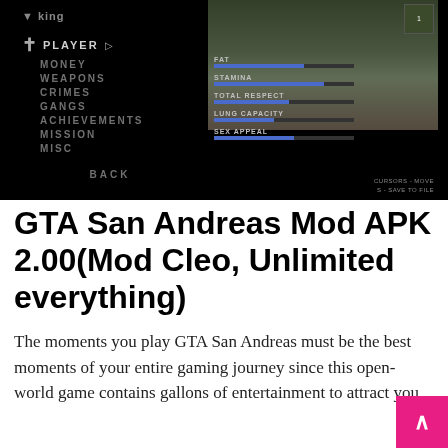[Figure (screenshot): GTA San Andreas game screenshot showing the player stats menu on a dark background. Left side shows menu items: PLAYER (highlighted), MONEY, WEAPONS, CRIMES, GANGS, ACHIEVEMENTS, MISSION, MISC, and BACK at the bottom. Right side shows stat bars for FAT, STAMINA, TOTAL RESPECT, LUNG CAPACITY, SEX APPEAL. Top right shows a minimap and street scene background.]
GTA San Andreas Mod APK 2.00(Mod Cleo, Unlimited everything)
The moments you play GTA San Andreas must be the best moments of your entire gaming journey since this open-world game contains gallons of entertainment to attract you.